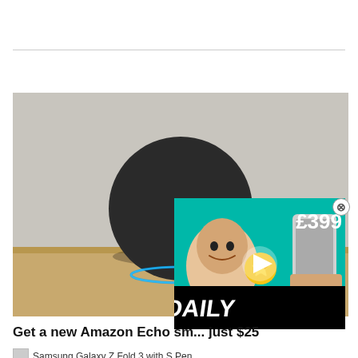[Figure (photo): Amazon Echo smart speaker (spherical black device) sitting on a wooden shelf against a light grey wall, with a faint blue ring at the base.]
[Figure (screenshot): Video overlay thumbnail showing a man's face smiling, with a star emoji, a phone being held, the price £399 in large text, and the word DAILY in bold white text on a teal/black background, with a play button triangle in the center.]
Get a new Amazon Echo sm... just $25
[Figure (photo): Small thumbnail image icon for Samsung Galaxy Z Fold 3 with S Pen article.]
Samsung Galaxy Z Fold 3 with S Pen